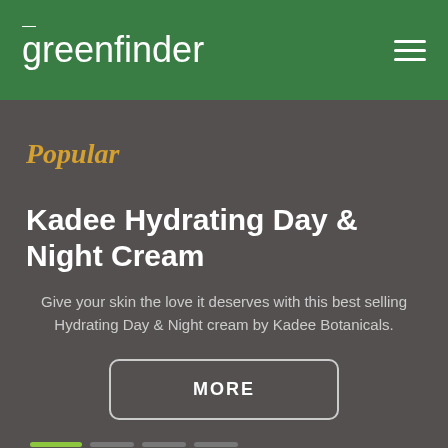greenfinder
Popular
Kadee Hydrating Day & Night Cream
Give your skin the love it deserves with this best selling Hydrating Day & Night cream by Kadee Botanicals.
MORE